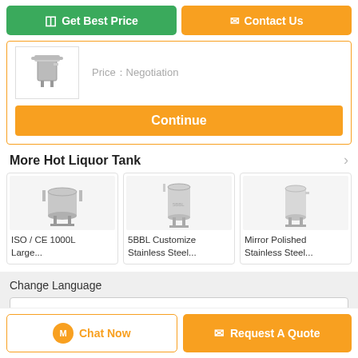[Figure (screenshot): E-commerce product page for Hot Liquor Tank showing Get Best Price and Contact Us buttons, a product image with Price:Negotiation, Continue button, product listings, language selection, and bottom navigation bar.]
Get Best Price
Contact Us
Price：Negotiation
Continue
More  Hot Liquor Tank
ISO / CE 1000L Large...
5BBL Customize Stainless Steel...
Mirror Polished Stainless Steel...
Change Language
english
Chat Now
Request A Quote